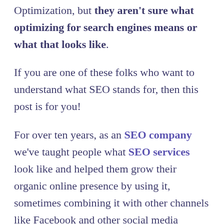Optimization, but they aren't sure what optimizing for search engines means or what that looks like.
If you are one of these folks who want to understand what SEO stands for, then this post is for you!
For over ten years, as an SEO company we've taught people what SEO services look like and helped them grow their organic online presence by using it, sometimes combining it with other channels like Facebook and other social media channels. We understand what it's like to not know about search engine optimization and our hope is that this post will give your business